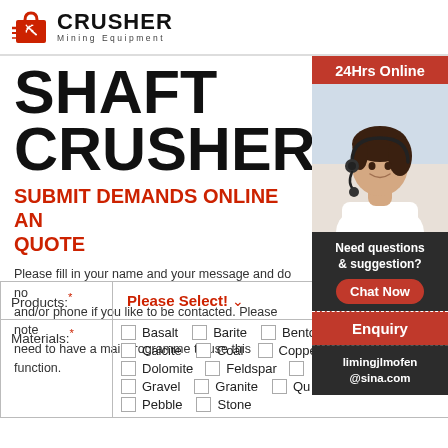CRUSHER Mining Equipment
SHAFT CRUSHER
SUBMIT DEMANDS ONLINE AND GET QUOTE
Please fill in your name and your message and do not forget mail and/or phone if you like to be contacted. Please note that you need to have a mail programme to use this function.
| Products:* | Please Select! |
| --- | --- |
| Materials:* | Basalt  Barite  Bento... Calcite  Coal  Coppe... Dolomite  Feldspar  ... Gravel  Granite  Qu... Pebble  Stone... |
[Figure (photo): Customer service representative with headset, sidebar with 24Hrs Online label]
Need questions & suggestion?
Chat Now
Enquiry
limingjlmofen@sina.com